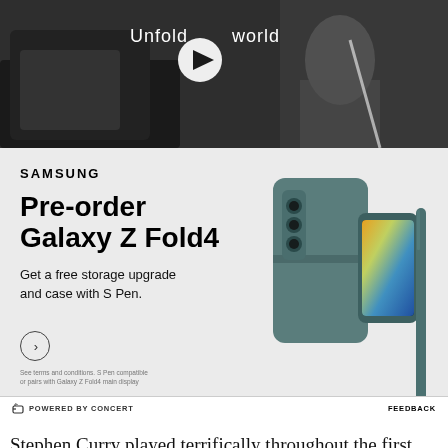[Figure (screenshot): Video thumbnail showing a person in a car with 'Unfold your world' text and a play button overlay]
[Figure (screenshot): Samsung advertisement for pre-ordering Galaxy Z Fold4 with phone and S Pen case image. Text: SAMSUNG, Pre-order Galaxy Z Fold4, Get a free storage upgrade and case with S Pen. Fine print: See terms and conditions. S Pen compatible or pairs with Galaxy Z Fold4 main display. Powered by Concert. Feedback.]
Stephen Curry played terrifically throughout the first three quarters and finished with a solid all-around line